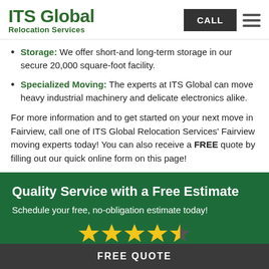ITS Global Relocation Services | CALL | Menu
Storage: We offer short-and long-term storage in our secure 20,000 square-foot facility.
Specialized Moving: The experts at ITS Global can move heavy industrial machinery and delicate electronics alike.
For more information and to get started on your next move in Fairview, call one of ITS Global Relocation Services' Fairview moving experts today! You can also receive a FREE quote by filling out our quick online form on this page!
Quality Service with a Free Estimate
Schedule your free, no-obligation estimate today!
[Figure (other): 4.5 star rating shown with 4 full gold stars and 1 half gold star]
FREE QUOTE